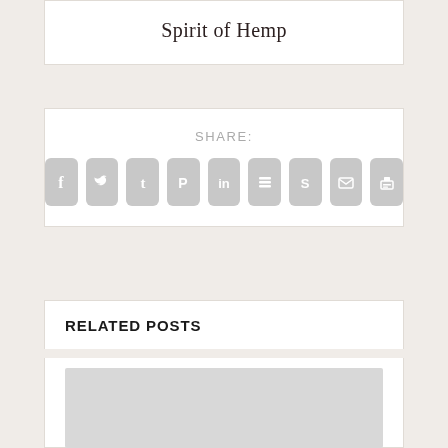Spirit of Hemp
SHARE:
[Figure (infographic): Row of 9 social sharing icon buttons (Facebook, Twitter, Tumblr, Pinterest, LinkedIn, Buffer, StumbleUpon, Email, Print) as rounded gray square icons with white symbols]
RELATED POSTS
[Figure (photo): Gray placeholder image rectangle for a related post thumbnail]